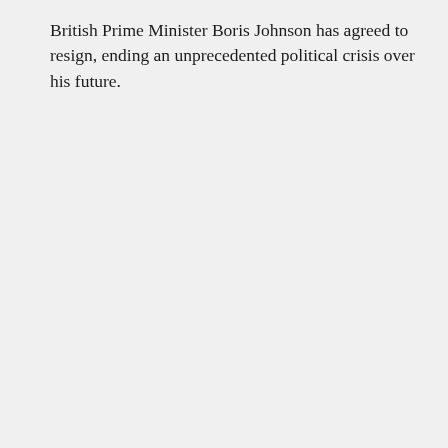British Prime Minister Boris Johnson has agreed to resign, ending an unprecedented political crisis over his future.